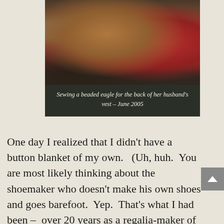[Figure (photo): A person sewing a beaded eagle onto fabric, with colorful materials on a table, taken in June 2005.]
Sewing a beaded eagle for the back of her husband's vest – June 2005
One day I realized that I didn't have a button blanket of my own.   (Uh, huh.  You are most likely thinking about the shoemaker who doesn't make his own shoes and goes barefoot.  Yep.  That's what I had been –  over 20 years as a regalia-maker of robes for others, but not for myself nor family – yup!)  Because I could create any kind of